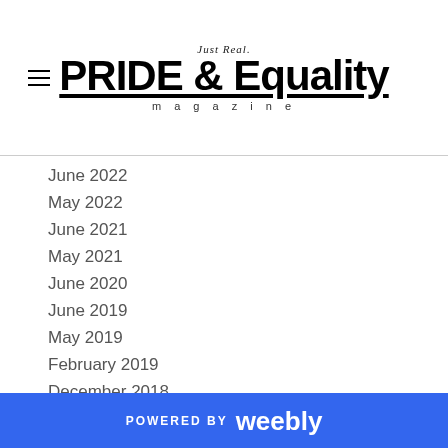Just Real. PRIDE & Equality magazine
June 2022
May 2022
June 2021
May 2021
June 2020
June 2019
May 2019
February 2019
December 2018
October 2018
July 2018
May 2018
April 2018
January 2018
December 2017
POWERED BY weebly